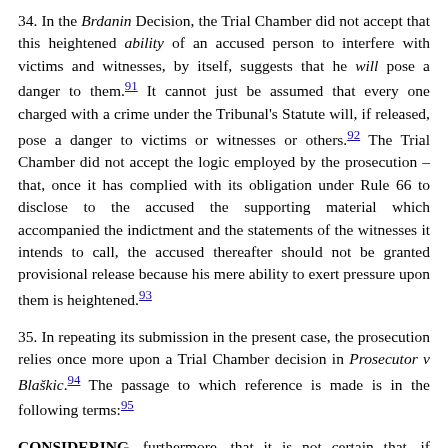34. In the Brdanin Decision, the Trial Chamber did not accept that this heightened ability of an accused person to interfere with victims and witnesses, by itself, suggests that he will pose a danger to them.[91] It cannot just be assumed that every one charged with a crime under the Tribunal's Statute will, if released, pose a danger to victims or witnesses or others.[92] The Trial Chamber did not accept the logic employed by the prosecution – that, once it has complied with its obligation under Rule 66 to disclose to the accused the supporting material which accompanied the indictment and the statements of the witnesses it intends to call, the accused thereafter should not be granted provisional release because his mere ability to exert pressure upon them is heightened.[93]
35. In repeating its submission in the present case, the prosecution relies once more upon a Trial Chamber decision in Prosecutor v Blaškic.[94] The passage to which reference is made is in the following terms:[95]
CONSIDERING, furthermore, that it is not certain that, if released, the accused would not pose a danger to any victim, witness or other person; that the knowledge which, as an accused person, he has of the evidence produced by the Prosecutor would place him in a situation permitting him to exert pressure on victims and witnesses and that the investigation of the case might be